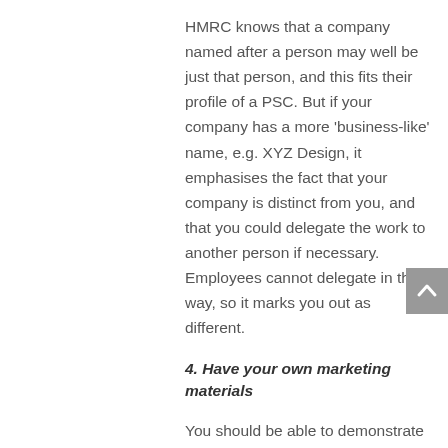HMRC knows that a company named after a person may well be just that person, and this fits their profile of a PSC. But if your company has a more ‘business-like’ name, e.g. XYZ Design, it emphasises the fact that your company is distinct from you, and that you could delegate the work to another person if necessary. Employees cannot delegate in this way, so it marks you out as different.
4. Have your own marketing materials
You should be able to demonstrate that you market your contracting services actively. Have a listing on relevant services website, post adverts and print business cards, all of which help to indicate that you are in business on your own account. Never